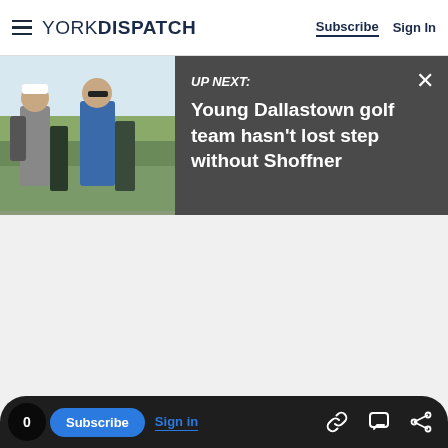YORK DISPATCH — Subscribe | Sign In
[Figure (screenshot): Up Next banner with photo of two golfers walking on a course, on a dark gray background. Text reads: UP NEXT: Young Dallastown golf team hasn't lost step without Shoffner]
0 | Subscribe | Sign in